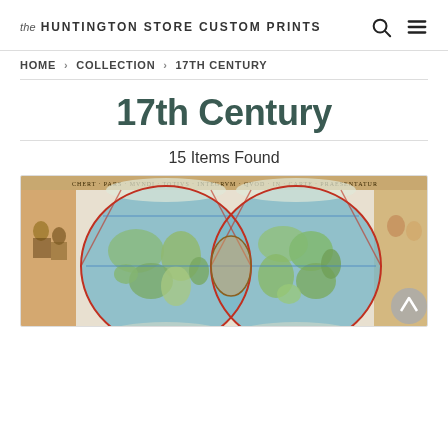the HUNTINGTON STORE CUSTOM PRINTS
HOME > COLLECTION > 17TH CENTURY
17th Century
15 Items Found
[Figure (map): Antique world map showing two hemispheres with decorative borders, colorful illustrations in teal, red, and gold tones, depicting an old 17th century cartographic style.]